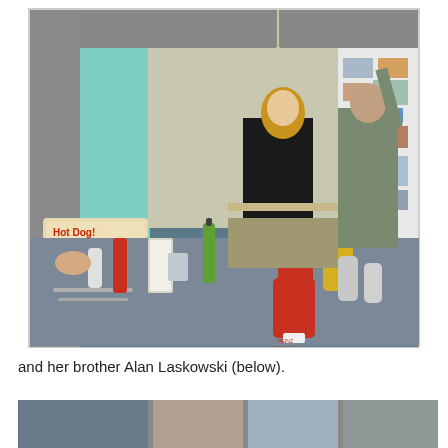[Figure (photo): Interior of a diner or food stand. A woman in a black jacket stands behind a counter with condiment bottles and utensils. A man in military-style clothing reaches toward shelves in the background. The walls are decorated with posters and photos. A 'Hot Dog!' sign is visible on a teal/mint colored partition. Condiment bottles including Heinz Tomato Ketchup are visible in the foreground on a gray counter.]
and her brother Alan Laskowski (below).
[Figure (photo): Partial view of a second photograph at the bottom of the page, partially cut off.]